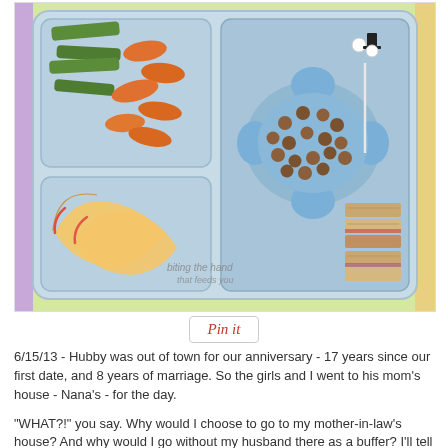[Figure (photo): Top-down photo of a segmented plastic lunch box container with: top-left compartment holding baby carrots and green beans; center compartment with a light blue flower-shaped silicone cup filled with round roasted chickpeas/snack balls and a small decorative wedding couple pick; right side with cut sandwich or bar pieces (appears to be peanut butter and jelly sandwich cut into squares); bottom-left compartment with apple slices. Watermark reads 'biting the hand that feeds you'. Container sits on a colorful patterned surface.]
Pin it
6/15/13 - Hubby was out of town for our anniversary - 17 years since our first date, and 8 years of marriage. So the girls and I went to his mom's house - Nana's - for the day.
"WHAT?!" you say. Why would I choose to go to my mother-in-law's house? And why would I go without my husband there as a buffer? I'll tell you why! Not only do I enjoy hanging around all my in-laws [it's okay, you can be jealous]